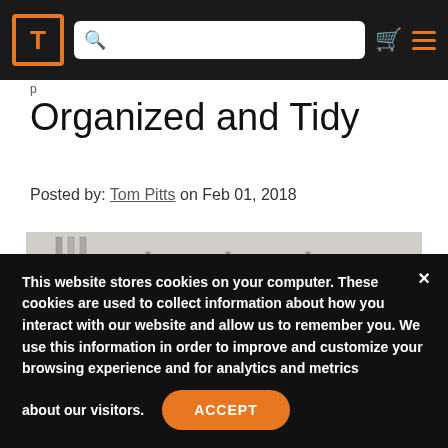Navigation bar with logo, search bar, cart icon, and menu icon
Organized and Tidy
Posted by: Tom Pitts on Feb 01, 2018
[Figure (photo): Photo of industrial piping/tubing system mounted on a wall, with valves and fittings, stainless steel pipes running horizontally and vertically.]
This website stores cookies on your computer. These cookies are used to collect information about how you interact with our website and allow us to remember you. We use this information in order to improve and customize your browsing experience and for analytics and metrics about our visitors.